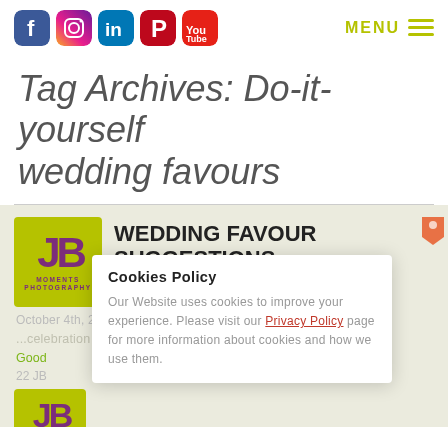Social media icons (Facebook, Instagram, LinkedIn, Pinterest, YouTube) and MENU navigation
Tag Archives: Do-it-yourself wedding favours
[Figure (screenshot): Blog card with JB Moments Photography logo and article titled WEDDING FAVOUR SUGGESTIONS, with a cookies policy overlay popup.]
Cookies Policy
Our Website uses cookies to improve your experience. Please visit our Privacy Policy page for more information about cookies and how we use them.